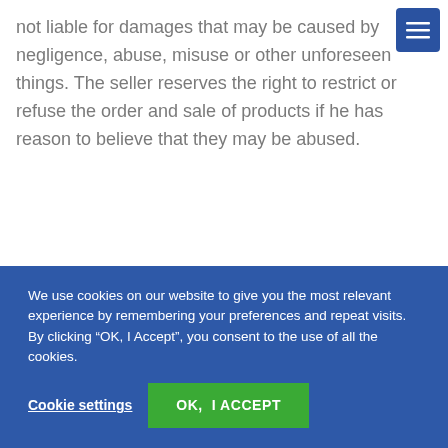not liable for damages that may be caused by negligence, abuse, misuse or other unforeseen things. The seller reserves the right to restrict or refuse the order and sale of products if he has reason to believe that they may be abused.
We use cookies on our website to give you the most relevant experience by remembering your preferences and repeat visits.
By clicking “OK, I Accept”, you consent to the use of all the cookies.